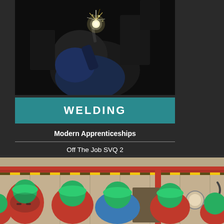[Figure (photo): Close-up photograph of a welder working, with bright welding sparks visible against a dark background]
WELDING
Modern Apprenticeships
Off The Job SVQ 2
On The Job SVQ 3
[Figure (photo): Group of apprentices in green hard hats and red jackets viewed from behind, looking at industrial equipment in a workshop]